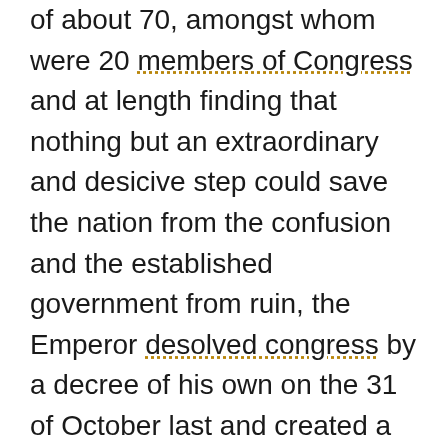of about 70, amongst whom were 20 members of Congress and at length finding that nothing but an extraordinary and desicive step could save the nation from the confusion and the established government from ruin, the Emperor desolved congress by a decree of his own on the 31 of October last and created a national Junta of his own choosing from amongst the members of Congress - since then things have gone on better and with more harmony - My business relative to the settlement is now acting on and in less than 10 days I shall be dispatched with everything freely arranged. The principal difficulty is slavery, this they